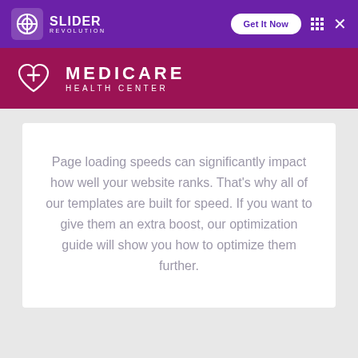SLIDER REVOLUTION — Get It Now
MEDICARE HEALTH CENTER
Page loading speeds can significantly impact how well your website ranks. That's why all of our templates are built for speed. If you want to give them an extra boost, our optimization guide will show you how to optimize them further.